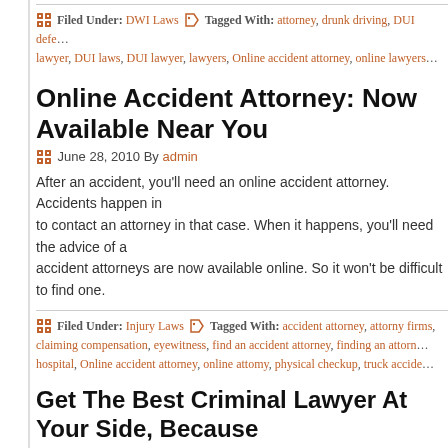Filed Under: DWI Laws  Tagged With: attorney, drunk driving, DUI defe... lawyer, DUI laws, DUI lawyer, lawyers, Online accident attorney, online lawyers...
Online Accident Attorney: Now Available Near You
June 28, 2010 By admin
After an accident, you'll need an online accident attorney. Accidents happen in... to contact an attorney in that case. When it happens, you'll need the advice of a... accident attorneys are now available online. So it won't be difficult to find one.
Filed Under: Injury Laws  Tagged With: accident attorney, attorny firms, claiming compensation, eyewitness, find an accident attorney, finding an attorn... hospital, Online accident attorney, online attomy, physical checkup, truck accide...
Get The Best Criminal Lawyer At Your Side, Because... Fought To Win!
June 25, 2010 By admin
At several situations, we wish that we had professionals by our side. This holds... law. There are light situations like buying a property or dealing with collection a... might not be mandatory. However, in situation where we find ourselves caught...